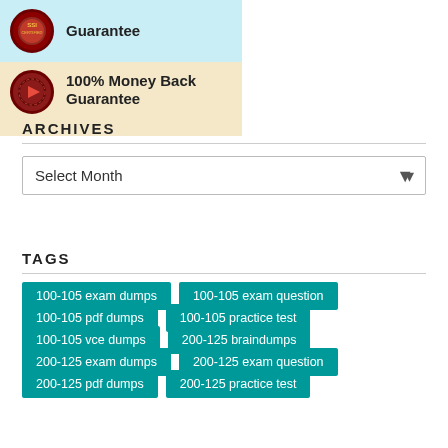[Figure (infographic): Two badge rows: top row with teal background showing a seal badge and 'Guarantee' text; bottom row with cream/peach background showing a money-back red arrow badge and '100% Money Back Guarantee' text]
ARCHIVES
Select Month
TAGS
100-105 exam dumps
100-105 exam question
100-105 pdf dumps
100-105 practice test
100-105 vce dumps
200-125 braindumps
200-125 exam dumps
200-125 exam question
200-125 pdf dumps
200-125 practice test